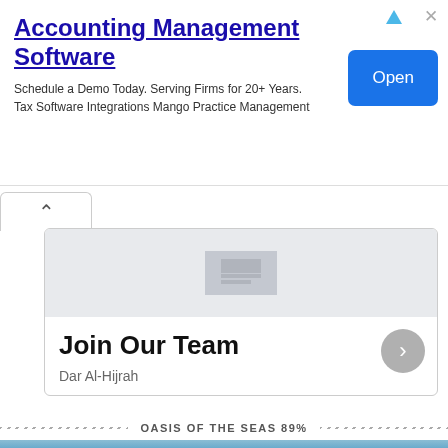Accounting Management Software
Schedule a Demo Today. Serving Firms for 20+ Years.
Tax Software Integrations Mango Practice Management
[Figure (screenshot): Card UI with collapsed image placeholder showing gray rectangle and text area below]
Join Our Team
Dar Al-Hijrah
OASIS OF THE SEAS 89%
[Figure (photo): Large cruise ship Oasis of the Seas photographed from the side against a blue sky with clouds]